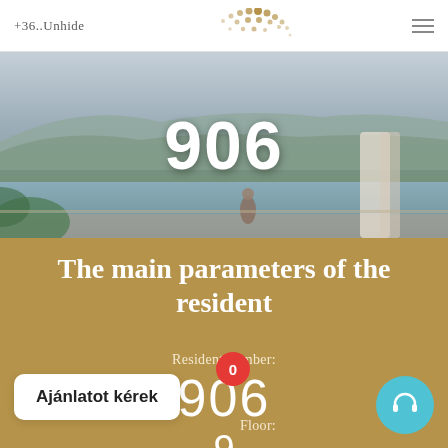+36..Unhide
[Figure (photo): Aerial/pool view of a city with mountains in background, a person standing at a pool edge. Large number 906 overlaid in white.]
The main parameters of the resident
Resident number:
906
Floor:
9
Ajánlatot kérek